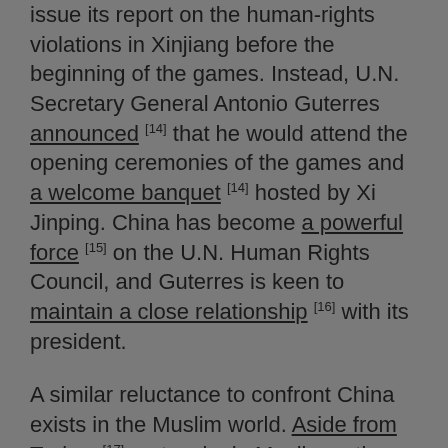issue its report on the human-rights violations in Xinjiang before the beginning of the games. Instead, U.N. Secretary General Antonio Guterres announced [14] that he would attend the opening ceremonies of the games and a welcome banquet [14] hosted by Xi Jinping. China has become a powerful force [15] on the U.N. Human Rights Council, and Guterres is keen to maintain a close relationship [16] with its president.
A similar reluctance to confront China exists in the Muslim world. Aside from Turkey [17], not a single Muslim nation has publicly criticized the Chinese government's treatment of the Uyghurs and other Turkic Muslims. Some, like Saudi Arabia, the United Arab Emirates, and Egypt, have even defended it [18]. These countries' ties to China are not just economic but also political [19]. Like China, these countries' governments are authoritarian, actively committing human-rights violations of their own. In that sense, a win for China is a win for them, even if it comes at the expense of other Muslims.
Because China is so powerful, the global community's failure to hold it to account for the atrocities committed against the Uyghurs could have serious repercussions. Thus far, China has waved away criticisms with renewed assertions [20] of absolute state sovereignty within its own...